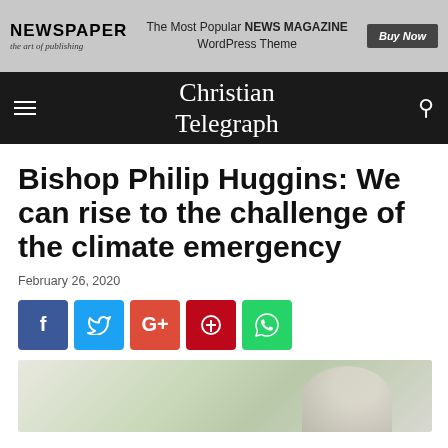[Figure (screenshot): Newspaper WordPress theme advertisement banner with logo, tagline 'The Most Popular NEWS MAGAZINE WordPress Theme', and Buy Now button]
Christian Telegraph
Bishop Philip Huggins: We can rise to the challenge of the climate emergency
February 26, 2020
[Figure (other): Social media share buttons: Facebook (f), Twitter, Google+, Pinterest, WhatsApp]
[Figure (photo): Partial photo of people outdoors with greenery, cropped at bottom of page]